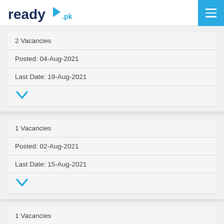ready.pk
2 Vacancies
Posted: 04-Aug-2021
Last Date: 19-Aug-2021
2 Vacancies
Posted: 02-Aug-2021
Last Date: 15-Aug-2021
1 Vacancies